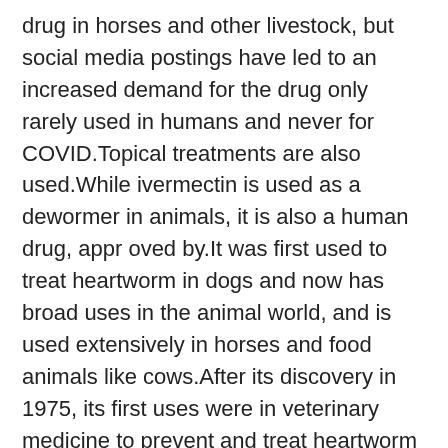drug in horses and other livestock, but social media postings have led to an increased demand for the drug only rarely used in humans and never for COVID.Topical treatments are also used.While ivermectin is used as a dewormer in animals, it is also a human drug, appr oved by.It was first used to treat heartworm in dogs and now has broad uses in the animal world, and is used extensively in horses and food animals like cows.After its discovery in 1975, its first uses were in veterinary medicine to prevent and treat heartworm and acariasis.While it can be safe for human in some forms, people are using equestrian doses, ABC reported Ivermectin tablets are approved for use in humans by the FDA to treat some parasitic worms, including intestinal roundworms or those that cause river blindness.A 5-day course of ivermectin was found to be safe and FDA Approves 'Horse